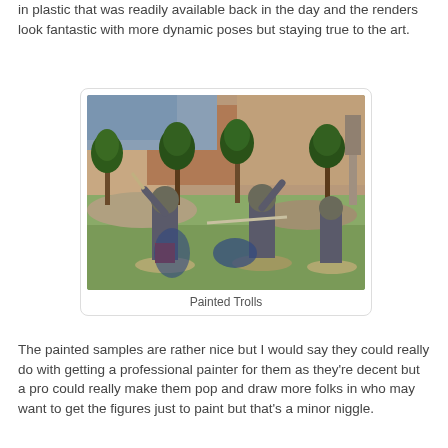in plastic that was readily available back in the day and the renders look fantastic with more dynamic poses but staying true to the art.
[Figure (photo): Photograph of painted troll miniature figures on a scenic diorama base with trees, rocks, and canyon-like background. Three troll figures in dynamic combat poses on round bases on a green and grey terrain.]
Painted Trolls
The painted samples are rather nice but I would say they could really do with getting a professional painter for them as they're decent but a pro could really make them pop and draw more folks in who may want to get the figures just to paint but that's a minor niggle.